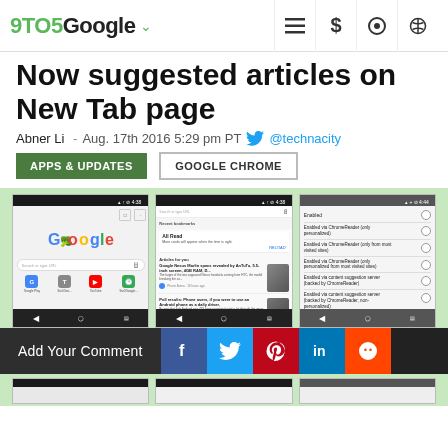9TO5Google
Now suggested articles on New Tab page
Abner Li  - Aug. 17th 2016 5:29 pm PT  @technacity
APPS & UPDATES
GOOGLE CHROME
[Figure (screenshot): Three Android phone screenshots showing Chrome browser New Tab page with suggested articles feature and settings options including Enabled, Enabled via ChromeReader, Enabled via content suggestion server options]
Add Your Comment